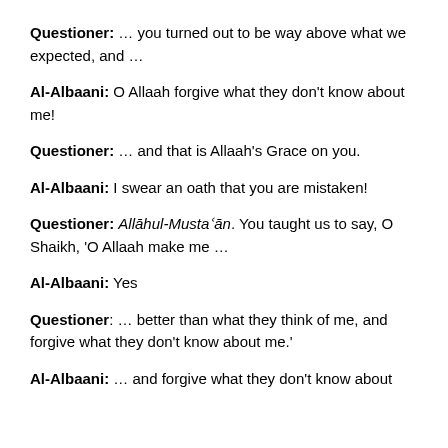Questioner: … you turned out to be way above what we expected, and …
Al-Albaani: O Allaah forgive what they don't know about me!
Questioner: … and that is Allaah's Grace on you.
Al-Albaani: I swear an oath that you are mistaken!
Questioner: Allāhul-Musta'ān. You taught us to say, O Shaikh, 'O Allaah make me …
Al-Albaani: Yes
Questioner: … better than what they think of me, and forgive what they don't know about me.'
Al-Albaani: … and forgive what they don't know about